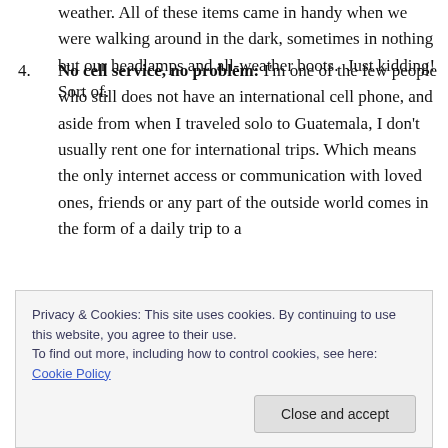weather. All of these items came in handy when we were walking around in the dark, sometimes in nothing but our headlamps and all-weather boots.  Just kidding! Sort of.
No cell service, no problem: I'm one of the few people who still does not have an international cell phone, and aside from when I traveled solo to Guatemala, I don't usually rent one for international trips. Which means the only internet access or communication with loved ones, friends or any part of the outside world comes in the form of a daily trip to a
Privacy & Cookies: This site uses cookies. By continuing to use this website, you agree to their use.
To find out more, including how to control cookies, see here: Cookie Policy
Close and accept
entertain ourselves until we ventured out to get wifi